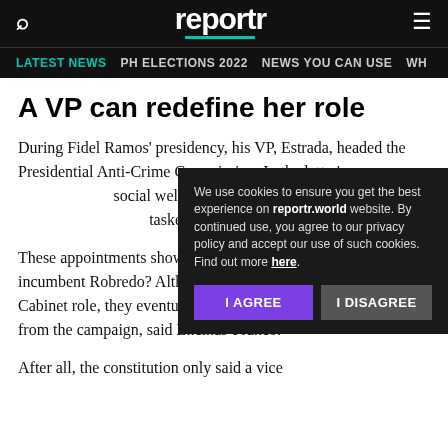reportr
LATEST NEWS | PH ELECTIONS 2022 | NEWS YOU CAN USE | WH...
A VP can redefine her role
During Fidel Ramos' presidency, his VP, Estrada, headed the Presidential Anti-Crime Commission. In the latter's pr... social welfare a... For Benigno "No... tasked to look a...
We use cookies to ensure you get the best experience on reportr.world website. By continued use, you agree to our privacy policy and accept our use of such cookies. Find out more here.
These appointm... what happened to incumbent Robredo? Although Duterte initially offered her a Cabinet role, they eventually failed to overcome the animosity from the campaign, said Encinas-Franco.
After all, the constitution only said a vice